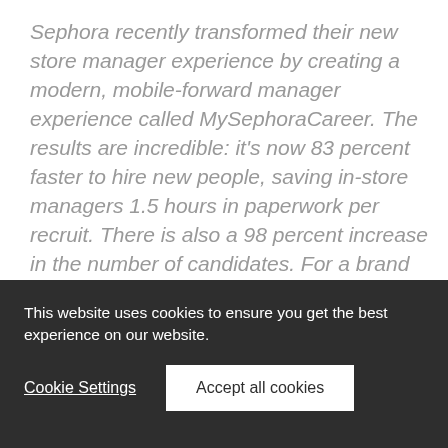Sephora recently transformed their new store manager experience by creating a modern, mobile-forward manager experience called MySephoraCareer. The results are incredible: it's now 83 percent faster to hire new people, saving in-store managers 1.5 hours in paperwork per recruit. There is also a 98 percent increase in the number of candidates. For a brand that hires close to 15,000 new employees each year, this is a huge step in improving the experience for both new recruits and current employees.
This website uses cookies to ensure you get the best experience on our website.
Cookie Settings
Accept all cookies